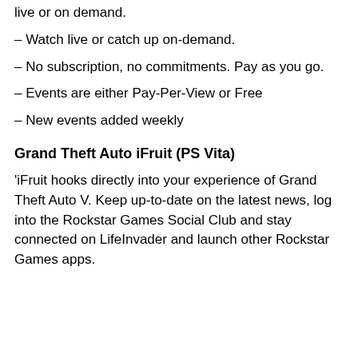live or on demand.
– Watch live or catch up on-demand.
– No subscription, no commitments. Pay as you go.
– Events are either Pay-Per-View or Free
– New events added weekly
Grand Theft Auto iFruit (PS Vita)
'iFruit hooks directly into your experience of Grand Theft Auto V. Keep up-to-date on the latest news, log into the Rockstar Games Social Club and stay connected on LifeInvader and launch other Rockstar Games apps.